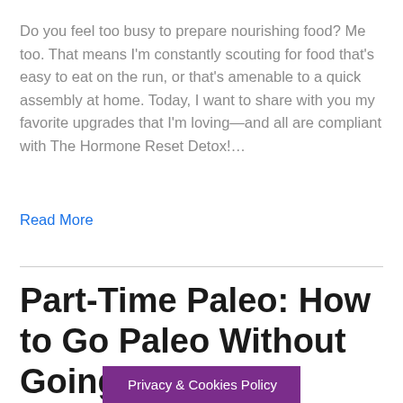Do you feel too busy to prepare nourishing food? Me too. That means I'm constantly scouting for food that's easy to eat on the run, or that's amenable to a quick assembly at home. Today, I want to share with you my favorite upgrades that I'm loving—and all are compliant with The Hormone Reset Detox!…
Read More
Part-Time Paleo: How to Go Paleo Without Going Crazy – Dr. Sara's B...
Privacy & Cookies Policy